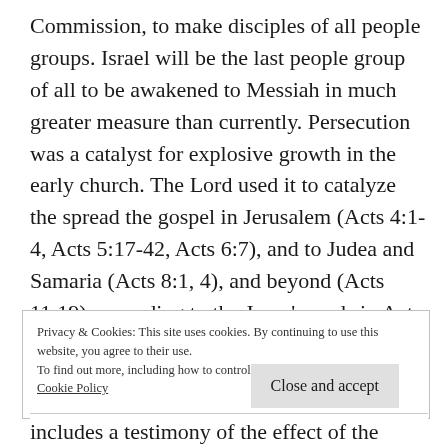Commission, to make disciples of all people groups. Israel will be the last people group of all to be awakened to Messiah in much greater measure than currently. Persecution was a catalyst for explosive growth in the early church. The Lord used it to catalyze the spread the gospel in Jerusalem (Acts 4:1-4, Acts 5:17-42, Acts 6:7), and to Judea and Samaria (Acts 8:1, 4), and beyond (Acts 11:19), according to the Jesus’ words in Acts 1:8.
Privacy & Cookies: This site uses cookies. By continuing to use this website, you agree to their use.
To find out more, including how to control cookies, see here: Cookie Policy
includes a testimony of the effect of the